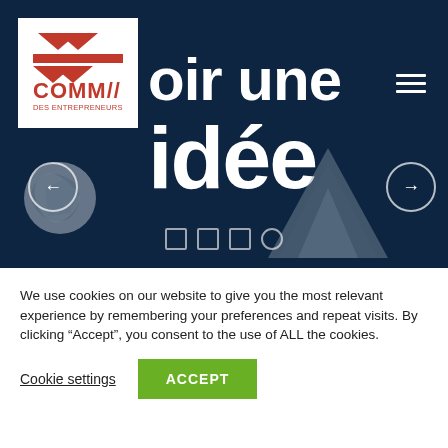[Figure (screenshot): Website hero banner with dark navy background, COMM DES ENTREPRENEURS logo in white box top-left, hamburger menu icon top-right, large white bold French text 'avoir une idée', left and right navigation arrows, crumpled paper and origami arrow decorative elements, indicator dots at bottom]
We use cookies on our website to give you the most relevant experience by remembering your preferences and repeat visits. By clicking “Accept”, you consent to the use of ALL the cookies.
Cookie settings
ACCEPT